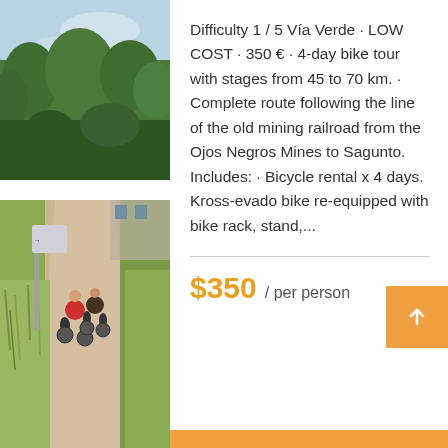[Figure (photo): Outdoor photo of cyclists riding on a gravel path through trees and wild grass, with a road sign visible on the left side. Sunny day with blue sky.]
Difficulty 1 / 5 Vía Verde · LOW COST · 350 € · 4-day bike tour with stages from 45 to 70 km. · Complete route following the line of the old mining railroad from the Ojos Negros Mines to Sagunto. Includes: · Bicycle rental x 4 days. Kross-evado bike re-equipped with bike rack, stand,...
$350 / per person